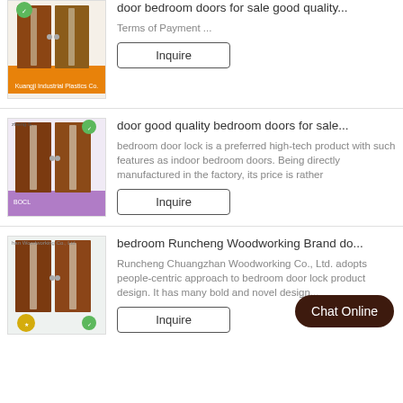[Figure (photo): Wooden bedroom door product listing image 1]
door bedroom doors for sale good quality...
Terms of Payment ...
Inquire
[Figure (photo): Wooden bedroom door product listing image 2]
door good quality bedroom doors for sale...
bedroom door lock is a preferred high-tech product with such features as indoor bedroom doors. Being directly manufactured in the factory, its price is rather...
Inquire
[Figure (photo): Wooden bedroom door product listing image 3]
bedroom Runcheng Woodworking Brand do...
Runcheng Chuangzhan Woodworking Co., Ltd. adopts people-centric approach to bedroom door lock product design. It has many bold and novel design...
Inquire
Chat Online